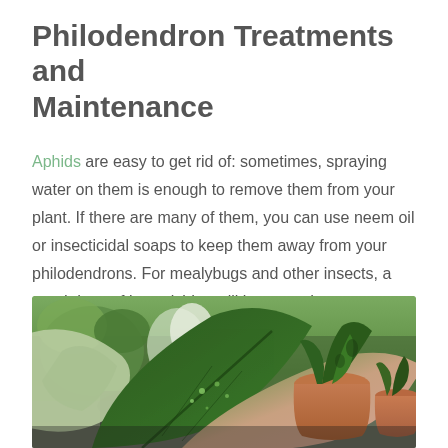Philodendron Treatments and Maintenance
Aphids are easy to get rid of: sometimes, spraying water on them is enough to remove them from your plant. If there are many of them, you can use neem oil or insecticidal soaps to keep them away from your philodendrons. For mealybugs and other insects, a good dose of insecticides will be a good way to control them.
[Figure (photo): Close-up photograph of philodendron and other tropical houseplants in terracotta pots on a table, with large green leaves in the foreground showing moisture droplets, and various plants in the background.]